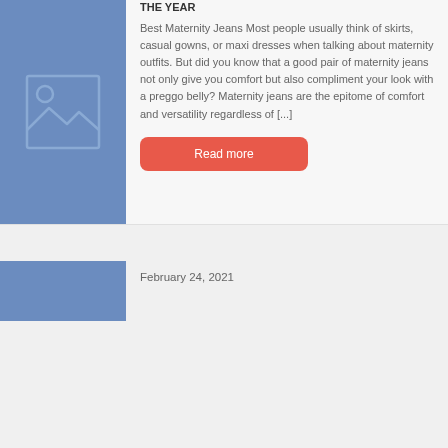[Figure (illustration): Blue placeholder image box with mountain and sun icon]
THE YEAR
Best Maternity Jeans Most people usually think of skirts, casual gowns, or maxi dresses when talking about maternity outfits. But did you know that a good pair of maternity jeans not only give you comfort but also compliment your look with a preggo belly? Maternity jeans are the epitome of comfort and versatility regardless of [...]
Read more
[Figure (illustration): Blue placeholder image box, partial view]
February 24, 2021